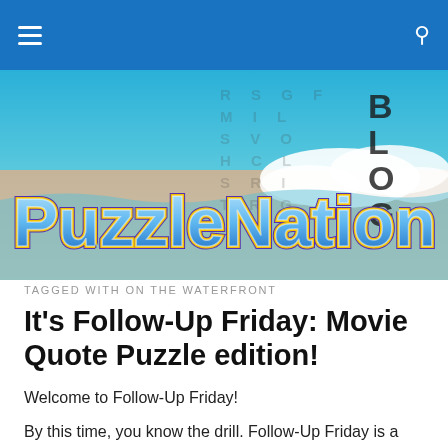PuzzleNation Blog — navigation bar with hamburger menu and search icon
[Figure (illustration): PuzzleNation Blog banner with blue sky background, word-search letter grid overlay, BLOG letters on the right, and PuzzleNation logo in stylized blue bubble lettering on a sandy/beige lower background.]
TAGGED WITH ON THE WATERFRONT
It’s Follow-Up Friday: Movie Quote Puzzle edition!
Welcome to Follow-Up Friday!
By this time, you know the drill. Follow-Up Friday is a chance for us to revisit the subjects of previous posts and bring the PuzzleNation audience up to speed on all things